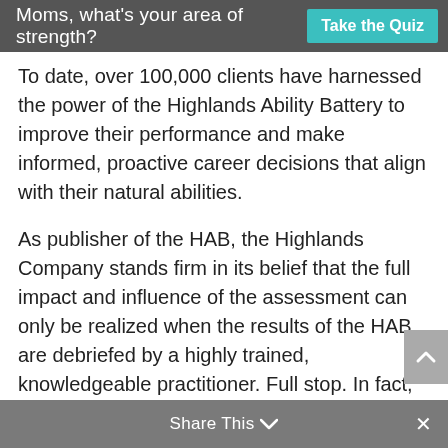Moms, what's your area of strength? Take the Quiz
To date, over 100,000 clients have harnessed the power of the Highlands Ability Battery to improve their performance and make informed, proactive career decisions that align with their natural abilities.
As publisher of the HAB, the Highlands Company stands firm in its belief that the full impact and influence of the assessment can only be realized when the results of the HAB are debriefed by a highly trained, knowledgeable practitioner. Full stop. In fact, studies have shown that programs that do not include at least a minimal review of the results of an in-depth assessment such as the
Share This ∨  ×